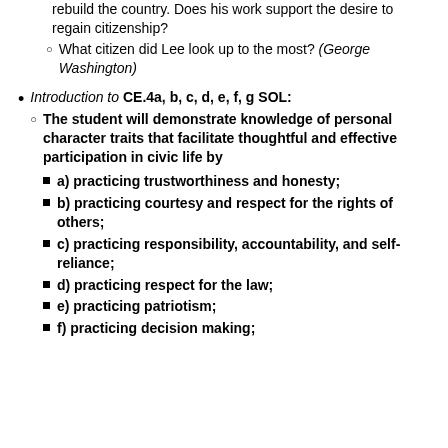rebuild the country. Does his work support the desire to regain citizenship?
What citizen did Lee look up to the most? (George Washington)
Introduction to CE.4a, b, c, d, e, f, g SOL:
The student will demonstrate knowledge of personal character traits that facilitate thoughtful and effective participation in civic life by
a) practicing trustworthiness and honesty;
b) practicing courtesy and respect for the rights of others;
c) practicing responsibility, accountability, and self-reliance;
d) practicing respect for the law;
e) practicing patriotism;
f) practicing decision making;